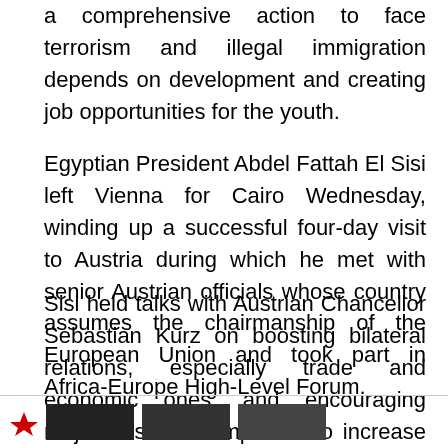a comprehensive action to face terrorism and illegal immigration depends on development and creating job opportunities for the youth.
Egyptian President Abdel Fattah El Sisi left Vienna for Cairo Wednesday, winding up a successful four-day visit to Austria during which he met with senior Austrian officials whose country assumes the chairmanship of the European Union and took part in Africa-Europe High-Level Forum.
Sisi held talks with Austrian Chancellor Sebastian Kurz on boosting bilateral relations, especially trade and economic ones, and encouraging major Austrian companies to increase their investments in Egypt.